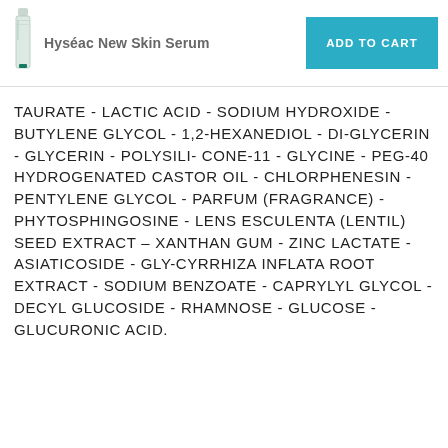Hyséac New Skin Serum
TAURATE - LACTIC ACID - SODIUM HYDROXIDE - BUTYLENE GLYCOL - 1,2-HEXANEDIOL - DI-GLYCERIN - GLYCERIN - POLYSILICONE-11 - GLYCINE - PEG-40 HYDROGENATED CASTOR OIL - CHLORPHENESIN - PENTYLENE GLYCOL - PARFUM (FRAGRANCE) - PHYTOSPHINGOSINE - LENS ESCULENTA (LENTIL) SEED EXTRACT - XANTHAN GUM - ZINC LACTATE - ASIATICOSIDE - GLYCYRRHIZA INFLATA ROOT EXTRACT - SODIUM BENZOATE - CAPRYLYL GLYCOL - DECYL GLUCOSIDE - RHAMNOSE - GLUCOSE - GLUCURONIC ACID.